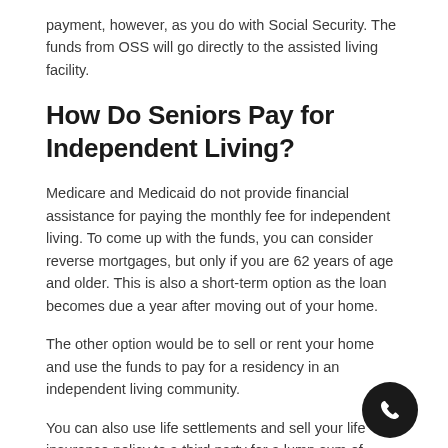payment, however, as you do with Social Security. The funds from OSS will go directly to the assisted living facility.
How Do Seniors Pay for Independent Living?
Medicare and Medicaid do not provide financial assistance for paying the monthly fee for independent living. To come up with the funds, you can consider reverse mortgages, but only if you are 62 years of age and older. This is also a short-term option as the loan becomes due a year after moving out of your home.
The other option would be to sell or rent your home and use the funds to pay for a residency in an independent living community.
You can also use life settlements and sell your life insurance policy to a third party for a lump sum of money.
[Figure (other): Dark circular phone/call button icon in bottom right corner]